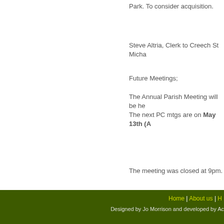Park. To consider acquisition.
Steve Altria, Clerk to Creech St Micha
Future Meetings;
The Annual Parish Meeting will be he
The next PC mtgs are on May 13th (A
The meeting was closed at 9pm.
Home | About us | H
Designed by Jo Morrison and developed by Ac